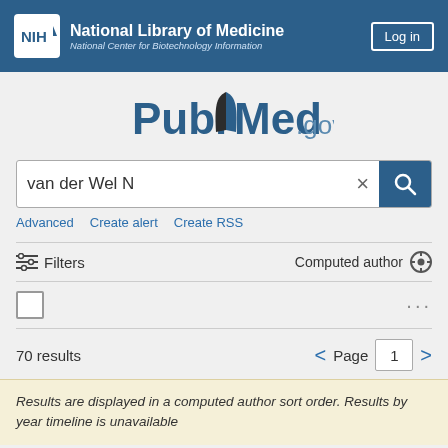NIH National Library of Medicine – National Center for Biotechnology Information | Log in
[Figure (logo): PubMed.gov logo with stylized open book graphic]
van der Wel N
Advanced   Create alert   Create RSS
Filters   Computed author
70 results   Page 1
Results are displayed in a computed author sort order. Results by year timeline is unavailable